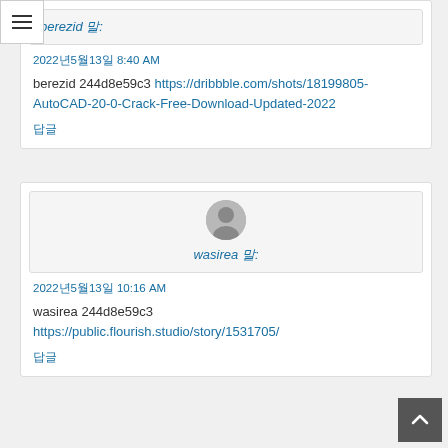[Figure (other): Hamburger menu icon (three horizontal lines) in top-left corner]
berezid 말:
2022년5월13일 8:40 AM
berezid 244d8e59c3 https://dribbble.com/shots/18199805-AutoCAD-20-0-Crack-Free-Download-Updated-2022
답글
[Figure (photo): Default user avatar (silhouette) in gray circle]
wasirea 말:
2022년5월13일 10:16 AM
wasirea 244d8e59c3 https://public.flourish.studio/story/1531705/
답글